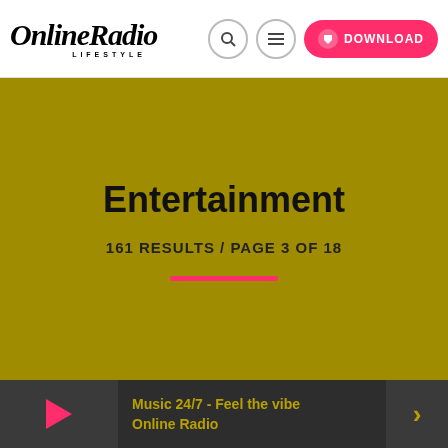OnlineRadio LIFESTYLE — DOWNLOAD
Entertainment
161 RESULTS / PAGE 3 OF 18
Music 24/7 - Feel the vibe Online Radio